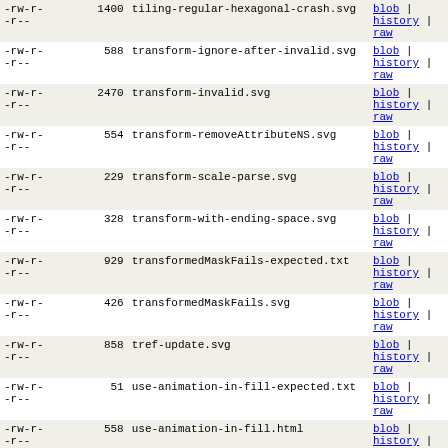| permissions | size | filename | links |
| --- | --- | --- | --- |
| -rw-r--r-- | 1400 | tiling-regular-hexagonal-crash.svg | blob | history | raw |
| -rw-r--r-- | 588 | transform-ignore-after-invalid.svg | blob | history | raw |
| -rw-r--r-- | 2470 | transform-invalid.svg | blob | history | raw |
| -rw-r--r-- | 554 | transform-removeAttributeNS.svg | blob | history | raw |
| -rw-r--r-- | 229 | transform-scale-parse.svg | blob | history | raw |
| -rw-r--r-- | 328 | transform-with-ending-space.svg | blob | history | raw |
| -rw-r--r-- | 929 | transformedMaskFails-expected.txt | blob | history | raw |
| -rw-r--r-- | 426 | transformedMaskFails.svg | blob | history | raw |
| -rw-r--r-- | 858 | tref-update.svg | blob | history | raw |
| -rw-r--r-- | 51 | use-animation-in-fill-expected.txt | blob | history | raw |
| -rw-r--r-- | 558 | use-animation-in-fill.html | blob | history | raw |
| -rw-r--r-- | 1930 | use-clipped-hit.svg | blob | history | raw |